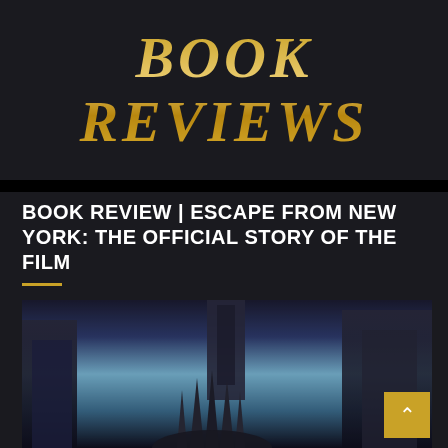BOOK REVIEWS
BOOK REVIEW | ESCAPE FROM NEW YORK: THE OFFICIAL STORY OF THE FILM
[Figure (photo): Dark illustrated book cover artwork showing the Statue of Liberty crown in the foreground with ominous New York City skyscrapers and a blue-tinted sky in the background, depicting the dystopian film setting of Escape from New York.]